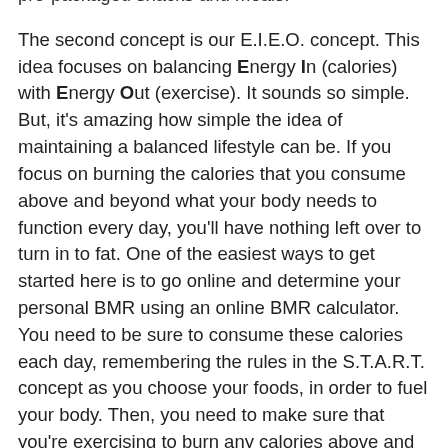pro-packaged snacks and meals.
The second concept is our E.I.E.O. concept. This idea focuses on balancing Energy In (calories) with Energy Out (exercise). It sounds so simple. But, it's amazing how simple the idea of maintaining a balanced lifestyle can be. If you focus on burning the calories that you consume above and beyond what your body needs to function every day, you'll have nothing left over to turn in to fat. One of the easiest ways to get started here is to go online and determine your personal BMR using an online BMR calculator. You need to be sure to consume these calories each day, remembering the rules in the S.T.A.R.T. concept as you choose your foods, in order to fuel your body. Then, you need to make sure that you're exercising to burn any calories above and beyond this amount of calories that you consume.